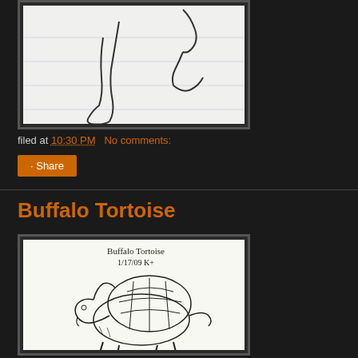[Figure (illustration): Top portion of a hand-drawn sketch on lined paper, partially cropped]
filed at 10:30 PM    No comments:
Share
Buffalo Tortoise
[Figure (illustration): Hand-drawn sketch of a Buffalo Tortoise dated 1/17/09, showing a buffalo body with a tortoise shell on its back, initialed K+]